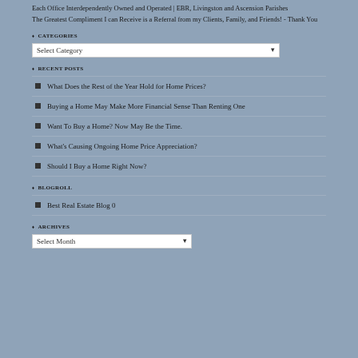Each Office Interdependently Owned and Operated | EBR, Livingston and Ascension Parishes
The Greatest Compliment I can Receive is a Referral from my Clients, Family, and Friends! - Thank You
CATEGORIES
Select Category
RECENT POSTS
What Does the Rest of the Year Hold for Home Prices?
Buying a Home May Make More Financial Sense Than Renting One
Want To Buy a Home? Now May Be the Time.
What's Causing Ongoing Home Price Appreciation?
Should I Buy a Home Right Now?
BLOGROLL
Best Real Estate Blog 0
ARCHIVES
Select Month